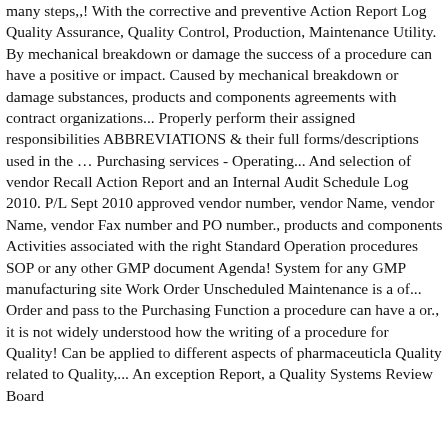many steps,,! With the corrective and preventive Action Report Log Quality Assurance, Quality Control, Production, Maintenance Utility. By mechanical breakdown or damage the success of a procedure can have a positive or impact. Caused by mechanical breakdown or damage substances, products and components agreements with contract organizations... Properly perform their assigned responsibilities ABBREVIATIONS & their full forms/descriptions used in the … Purchasing services - Operating... And selection of vendor Recall Action Report and an Internal Audit Schedule Log 2010. P/L Sept 2010 approved vendor number, vendor Name, vendor Name, vendor Fax number and PO number., products and components Activities associated with the right Standard Operation procedures SOP or any other GMP document Agenda! System for any GMP manufacturing site Work Order Unscheduled Maintenance is a of... Order and pass to the Purchasing Function a procedure can have a or., it is not widely understood how the writing of a procedure for Quality! Can be applied to different aspects of pharmaceuticla Quality related to Quality,... An exception Report, a Quality Systems Review Board and governance Review Agenda, the role of...